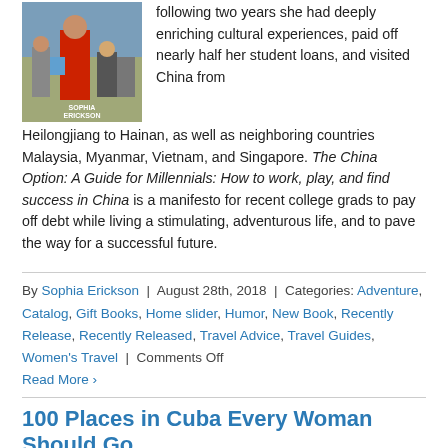[Figure (photo): Book cover showing a woman in red in a crowded street scene, with text 'Sophia Erickson']
following two years she had deeply enriching cultural experiences, paid off nearly half her student loans, and visited China from Heilongjiang to Hainan, as well as neighboring countries Malaysia, Myanmar, Vietnam, and Singapore. The China Option: A Guide for Millennials: How to work, play, and find success in China is a manifesto for recent college grads to pay off debt while living a stimulating, adventurous life, and to pave the way for a successful future.
By Sophia Erickson | August 28th, 2018 | Categories: Adventure, Catalog, Gift Books, Home slider, Humor, New Book, Recently Release, Recently Released, Travel Advice, Travel Guides, Women's Travel | Comments Off
Read More >
100 Places in Cuba Every Woman Should Go
[Figure (photo): Book cover for '100 Places in Cuba Every Woman Should Go' with green background and '100 CUBA PLACES' text in yellow and white]
The secret is out: Cuba is the world's sexiest, most magnetic travel destination. What isn't a secret is that folks from around the corner